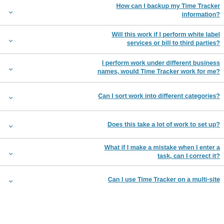How can I backup my Time Tracker information?
Will this work if I perform white label services or bill to third parties?
I perform work under different business names, would Time Tracker work for me?
Can I sort work into different categories?
Does this take a lot of work to set up?
What if I make a mistake when I enter a task, can I correct it?
Can I use Time Tracker on a multi-site